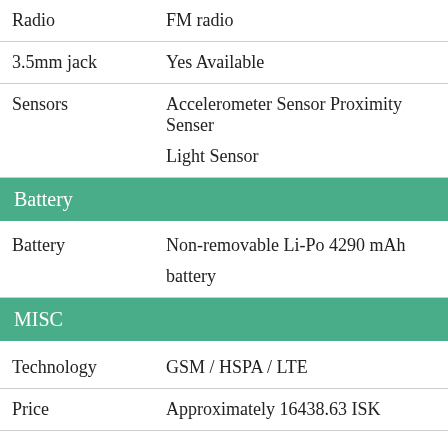| Radio | FM radio |
| 3.5mm jack | Yes Available |
| Sensors | Accelerometer Sensor Proximity Senser Light Sensor |
| Battery |  |
| Battery | Non-removable Li-Po 4290 mAh battery |
| MISC |  |
| Technology | GSM / HSPA / LTE |
| Price | Approximately 16438.63 ISK |